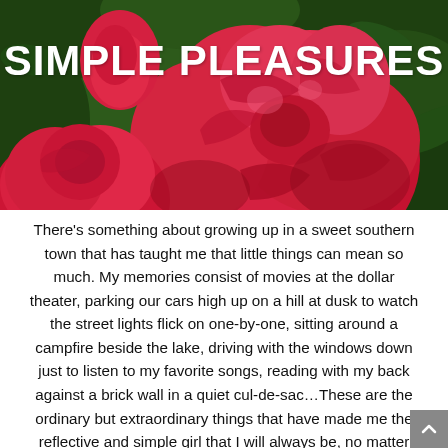[Figure (photo): Close-up photo of bright red/pink roses with green foliage in the background. The title 'SIMPLE PLEASURES' is overlaid in large bold white text.]
SIMPLE PLEASURES
There’s something about growing up in a sweet southern town that has taught me that little things can mean so much. My memories consist of movies at the dollar theater, parking our cars high up on a hill at dusk to watch the street lights flick on one-by-one, sitting around a campfire beside the lake, driving with the windows down just to listen to my favorite songs, reading with my back against a brick wall in a quiet cul-de-sac…These are the ordinary but extraordinary things that have made me the reflective and simple girl that I will always be, no matter how old I get or where I go in life.